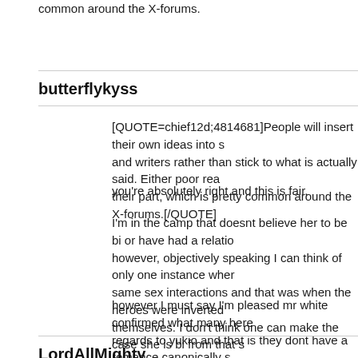common around the X-forums.
butterflykyss
[QUOTE=chief12d;4814681]People will insert their own ideas into s... and writers rather than stick to what is actually said. Either poor rea... their part, which is pretty common around the X-forums.[/QUOTE]
you're absolutely right and this is fair.
I'm in the camp that doesnt believe her to be bi or have had a relatio... however, objectively speaking I can think of only one instance wher... same sex interactions and that was when the heroes were inverted... themselves. I don't think one can make the case she is bi from that s...
however I must say I'm pleased mr white confirmed what many here... regards to yukio and that is they dont have a romance canonically s...
LordAllMighty
[QUOTE=butterflykyss;4814734]you're absolutely right and this is fa...
I'm in the camp that doesnt believe her to be bi or have had a relatio...